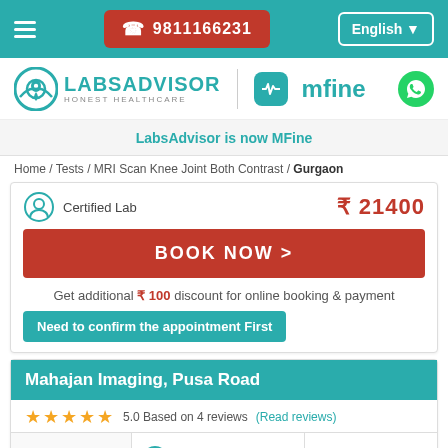☎ 9811166231  English
[Figure (logo): LabsAdvisor Honest Healthcare logo and MFine logo]
LabsAdvisor is now MFine
Home / Tests / MRI Scan Knee Joint Both Contrast / Gurgaon
Certified Lab  ₹21400
BOOK NOW >
Get additional ₹100 discount for online booking & payment
Need to confirm the appointment First
Mahajan Imaging, Pusa Road
★★★★★ 5.0 Based on 4 reviews (Read reviews)
24.93 KM From You
Lady Radiologist
Certified Lab
₹23000  ₹21400